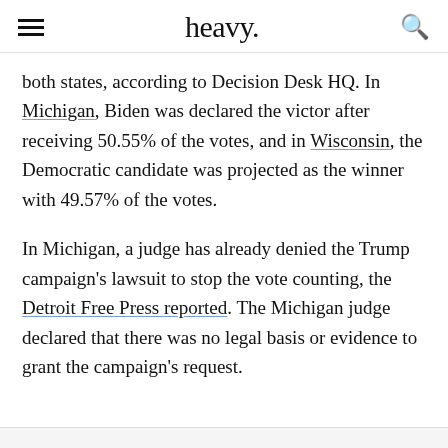heavy.
both states, according to Decision Desk HQ. In Michigan, Biden was declared the victor after receiving 50.55% of the votes, and in Wisconsin, the Democratic candidate was projected as the winner with 49.57% of the votes.
In Michigan, a judge has already denied the Trump campaign's lawsuit to stop the vote counting, the Detroit Free Press reported. The Michigan judge declared that there was no legal basis or evidence to grant the campaign's request.